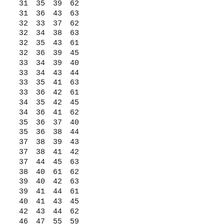| 31 | 35 | 39 | 62 |
| 31 | 36 | 43 | 63 |
| 32 | 33 | 37 | 62 |
| 32 | 34 | 38 | 63 |
| 32 | 35 | 43 | 61 |
| 32 | 36 | 39 | 45 |
| 33 | 34 | 39 | 40 |
| 33 | 34 | 43 | 44 |
| 33 | 35 | 41 | 63 |
| 33 | 36 | 42 | 61 |
| 34 | 35 | 42 | 45 |
| 34 | 36 | 41 | 62 |
| 35 | 36 | 37 | 40 |
| 35 | 36 | 38 | 44 |
| 37 | 38 | 39 | 43 |
| 37 | 38 | 41 | 42 |
| 37 | 44 | 45 | 63 |
| 38 | 40 | 61 | 62 |
| 39 | 40 | 42 | 63 |
| 39 | 41 | 44 | 61 |
| 40 | 41 | 43 | 45 |
| 42 | 43 | 44 | 62 |
| 46 | 47 | 55 | 59 |
| 46 | 47 | 56 | 57 |
| 46 | 48 | 53 | 60 |
| 46 | 49 | 52 | 61 |
| 46 | 50 | 54 | 62 |
| 46 | 51 | 58 | 63 |
| 47 | 48 | 52 | 62 |
| 47 | 49 | 53 | 63 |
| 47 | 50 | 58 | 61 |